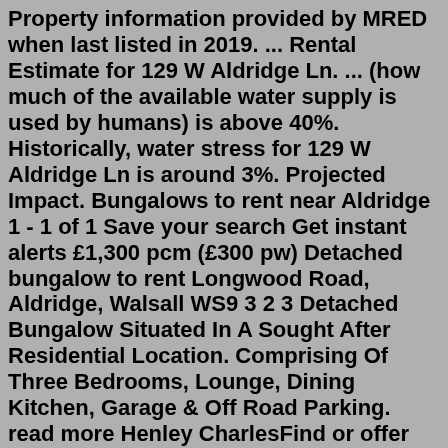Property information provided by MRED when last listed in 2019. ... Rental Estimate for 129 W Aldridge Ln. ... (how much of the available water supply is used by humans) is above 40%. Historically, water stress for 129 W Aldridge Ln is around 3%. Projected Impact. Bungalows to rent near Aldridge 1 - 1 of 1 Save your search Get instant alerts £1,300 pcm (£300 pw) Detached bungalow to rent Longwood Road, Aldridge, Walsall WS9 3 2 3 Detached Bungalow Situated In A Sought After Residential Location. Comprising Of Three Bedrooms, Lounge, Dining Kitchen, Garage & Off Road Parking. read more Henley CharlesFind or offer Property classifieds in Aldridge, West Midlands. Discover a property deal right now on Gumtree! ... 2 bed house or bungalow exchange wanted to coastal areas only must be near to schools for my grandaughter who is 10 . I have large 2 bed house in stirchley Birmingham 2 Gardens 1 is 70 ft long new fencing panels for privacy 2 living ...Rooms for rent in Aldridge flat and house shares - 1 currently available. 1000s more rooms to let in